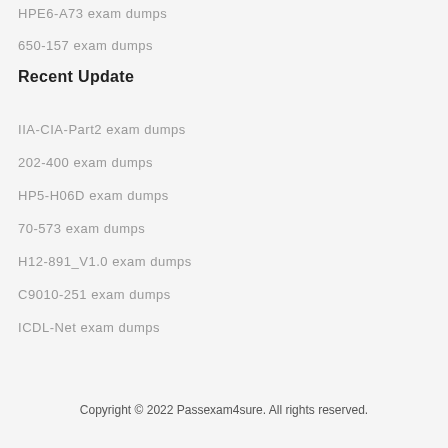HPE6-A73 exam dumps
650-157 exam dumps
Recent Update
IIA-CIA-Part2 exam dumps
202-400 exam dumps
HP5-H06D exam dumps
70-573 exam dumps
H12-891_V1.0 exam dumps
C9010-251 exam dumps
ICDL-Net exam dumps
Copyright © 2022 Passexam4sure. All rights reserved.